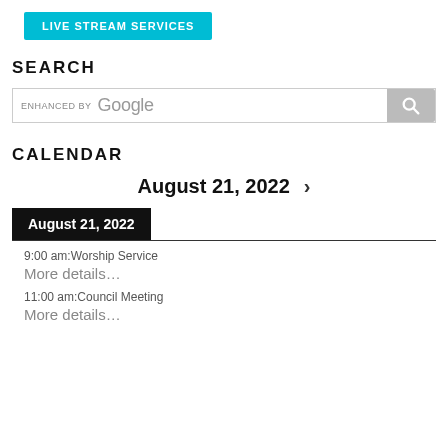[Figure (other): Live Stream Services button (cyan/teal background with white uppercase text)]
SEARCH
[Figure (other): Google search box with 'enhanced by Google' text and a search icon button on the right]
CALENDAR
August 21, 2022 >
August 21, 2022
9:00 am:Worship Service
More details...
11:00 am:Council Meeting
More details...